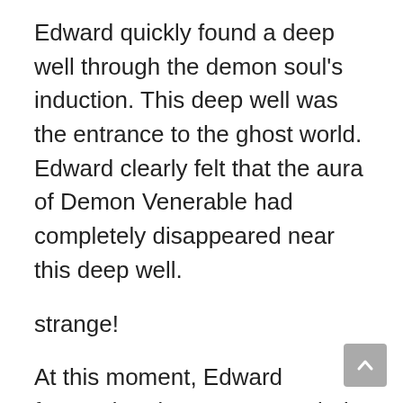Edward quickly found a deep well through the demon soul’s induction. This deep well was the entrance to the ghost world. Edward clearly felt that the aura of Demon Venerable had completely disappeared near this deep well.
strange!
At this moment, Edward frowned and was very puzzled.
The breath of Demon Venerable disappeared here. Could it be that it was brought into the deep well?
Edward had just stepped into the rivers and lakes, but he still didn’t know where the deep well was connected.